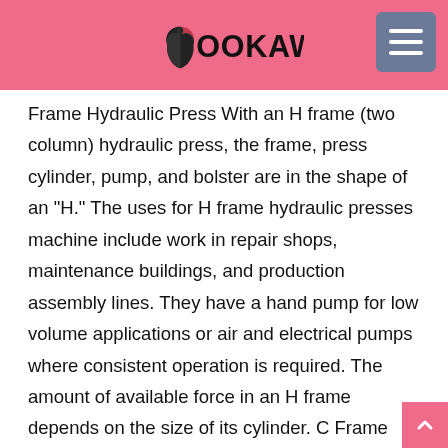BOOKAW
Frame Hydraulic Press With an H frame (two column) hydraulic press, the frame, press cylinder, pump, and bolster are in the shape of an "H." The uses for H frame hydraulic presses machine include work in repair shops, maintenance buildings, and production assembly lines. They have a hand pump for low volume applications or air and electrical pumps where consistent operation is required. The amount of available force in an H frame depends on the size of its cylinder. C Frame Hydraulic Press Single column (C frame) hydraulic presses have a body frame in the shape of the letter "C" with a single arm structure. They have excellent rigidity, guide performance, speed, and exceptional precision. They are ideal for small operations and require limited floor space. Four Column Hydraulic Press Four column hydraulic presses can apply substantial force to any size work piece. They can have a single or two cylinder design depending on the requirements of the manufacturing process. Four column presses